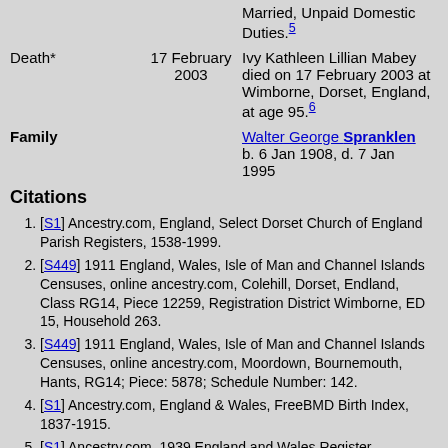|  |  | Married, Unpaid Domestic Duties.5 |
| Death* | 17 February 2003 | Ivy Kathleen Lillian Mabey died on 17 February 2003 at Wimborne, Dorset, England, at age 95.6 |
| Family |  | Walter George Spranklen b. 6 Jan 1908, d. 7 Jan 1995 |
Citations
[S1] Ancestry.com, England, Select Dorset Church of England Parish Registers, 1538-1999.
[S449] 1911 England, Wales, Isle of Man and Channel Islands Censuses, online ancestry.com, Colehill, Dorset, Endland, Class RG14, Piece 12259, Registration District Wimborne, ED 15, Household 263.
[S449] 1911 England, Wales, Isle of Man and Channel Islands Censuses, online ancestry.com, Moordown, Bournemouth, Hants, RG14; Piece: 5878; Schedule Number: 142.
[S1] Ancestry.com, England & Wales, FreeBMD Birth Index, 1837-1915.
[S1] Ancestry.com, 1939 England and Wales Register.
[S1] Ancestry.com, England and Wales, Death Index, 1990-2019